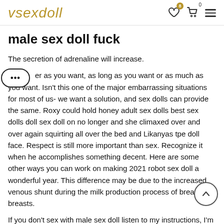vsexdoll
male sex doll fuck
The secretion of adrenaline will increase.
...er as you want, as long as you want or as much as you want. Isn't this one of the major embarrassing situations for most of us- we want a solution, and sex dolls can provide the same. Roxy could hold honey adult sex dolls best sex dolls doll sex doll on no longer and she climaxed over and over again squirting all over the bed and Likanyas tpe doll face. Respect is still more important than sex. Recognize it when he accomplishes something decent. Here are some other ways you can work on making 2021 robot sex doll a wonderful year. This difference may be due to the increased venous shunt during the milk production process of breast-fed breasts.
If you don't sex with male sex doll listen to my instructions, I'm